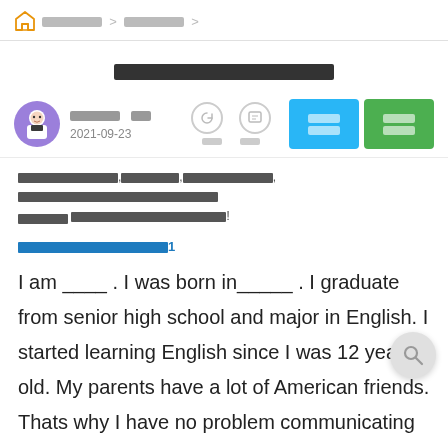🏠 ██████ > ██████ >
██████████████
███ ██  2021-09-23
██████████,██████,████████,████████████████████████████████████████████████ ██████████████████!
████████████████1
I am ____ . I was born in_____ . I graduate from senior high school and major in English. I started learning English since I was 12 years old. My parents have a lot of American friends. Thats why I have no problem communicating with Americans or others by speaking